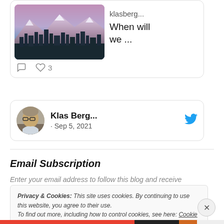[Figure (screenshot): Tweet card showing a city skyline photo (Los Angeles) with text 'klasberg... When will we ...' and like/comment action icons showing 3 likes]
[Figure (screenshot): Tweet card showing avatar photo of Klas Berg with name 'Klas Berg...' and Twitter bird icon and date '· Sep 5, 2021']
Email Subscription
Enter your email address to follow this blog and receive notifications of new posts by email.
Privacy & Cookies: This site uses cookies. By continuing to use this website, you agree to their use. To find out more, including how to control cookies, see here: Cookie Policy
Close and accept